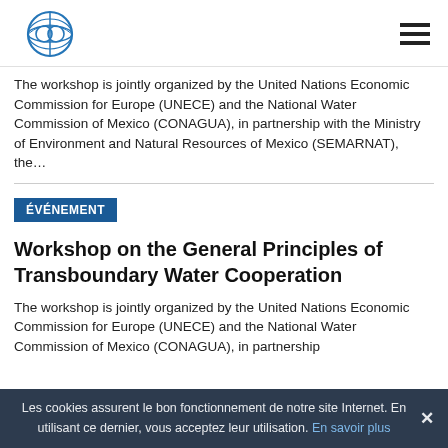[Figure (logo): UNECE globe logo with circular design in blue]
The workshop is jointly organized by the United Nations Economic Commission for Europe (UNECE) and the National Water Commission of Mexico (CONAGUA), in partnership with the Ministry of Environment and Natural Resources of Mexico (SEMARNAT), the...
ÉVÉNEMENT
Workshop on the General Principles of Transboundary Water Cooperation
The workshop is jointly organized by the United Nations Economic Commission for Europe (UNECE) and the National Water Commission of Mexico (CONAGUA), in partnership
Les cookies assurent le bon fonctionnement de notre site Internet. En utilisant ce dernier, vous acceptez leur utilisation. En savoir plus